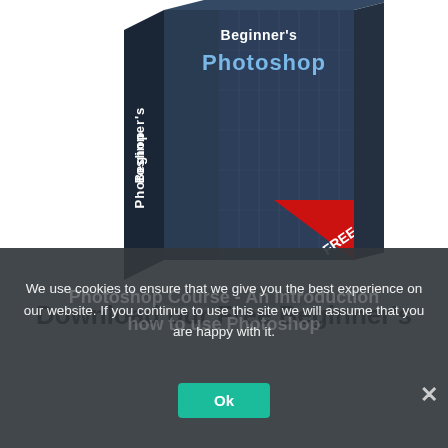[Figure (illustration): 3D software box for Beginner's Photoshop course with dark blue/grey design, skyscraper building image on front, text 'Beginner's Photoshop' on front and spine, red ribbon in corner with FREE label]
Download our Free Beginner's
We use cookies to ensure that we give you the best experience on our website. If you continue to use this site we will assume that you are happy with it.